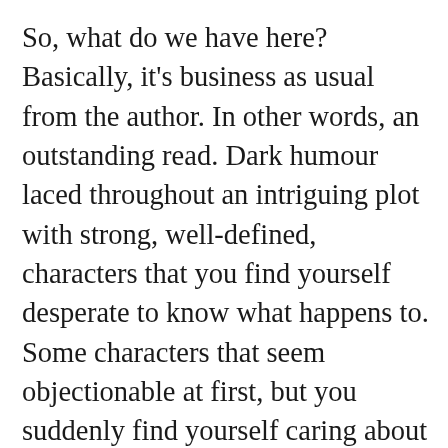So, what do we have here? Basically, it's business as usual from the author. In other words, an outstanding read. Dark humour laced throughout an intriguing plot with strong, well-defined, characters that you find yourself desperate to know what happens to. Some characters that seem objectionable at first, but you suddenly find yourself caring about what happens to them. And a plot that basically keeps you looking the wrong way, despite a plot that makes perfect sense once you know what has been going on. The more you think about it, the more you spot little things that should have nudged you in the